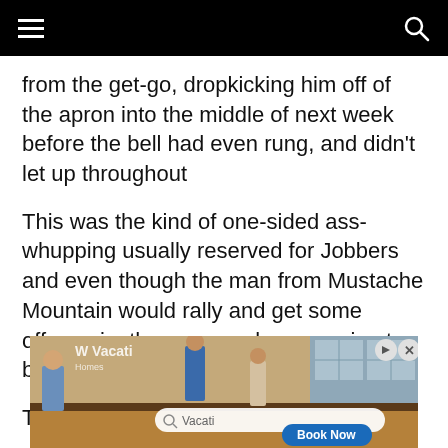from the get-go, dropkicking him off of the apron into the middle of next week before the bell had even rung, and didn't let up throughout
This was the kind of one-sided ass-whupping usually reserved for Jobbers and even though the man from Mustache Mountain would rally and get some offense in, there was only ever going to be one winner here.
This is a Finn Balor I can get behind.
[Figure (screenshot): Advertisement banner showing a kitchen scene with a search bar reading 'Vacati' and a 'Book Now' button]